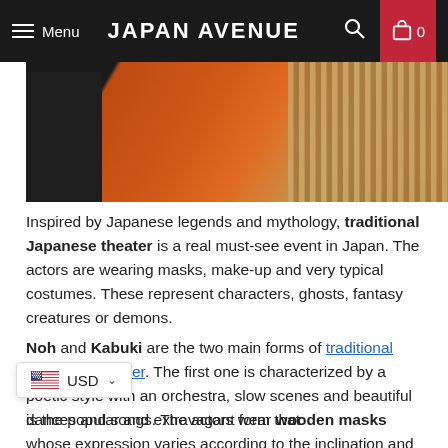Menu | JAPAN AVENUE | 🔍 | 🛒 0
[Figure (photo): Partial photo of a person in traditional Japanese theater costume with orange/red garment and striped fabric on the right side]
Inspired by Japanese legends and mythology, traditional Japanese theater is a real must-see event in Japan. The actors are wearing masks, make-up and very typical costumes. These represent characters, ghosts, fantasy creatures or demons.
Noh and Kabuki are the two main forms of traditional Japanese theater. The first one is characterized by a poetic style with an orchestra, slow scenes and beautiful dances and songs. The actors wear wooden masks whose expression varies according to the inclination and the light. The lyrical register of Noh theater is based on the spirit of the samurai and on emotions.
is the popular and extravagant form that